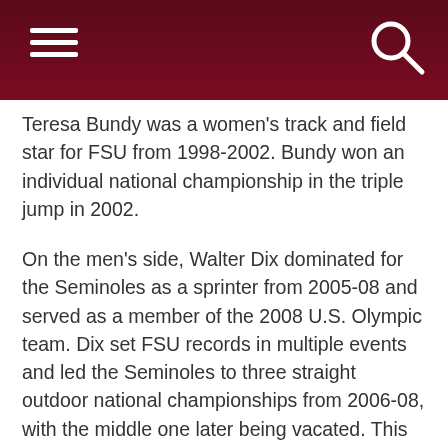Teresa Bundy was a women's track and field star for FSU from 1998-2002. Bundy won an individual national championship in the triple jump in 2002.
On the men's side, Walter Dix dominated for the Seminoles as a sprinter from 2005-08 and served as a member of the 2008 U.S. Olympic team. Dix set FSU records in multiple events and led the Seminoles to three straight outdoor national championships from 2006-08, with the middle one later being vacated. This year, Dix became the first FSU track and field athlete to have his jersey retired.
Former football assistant Jim Gladden coached for 26 years under the legendary Bobby Bowden as an outside linebacker and defensive